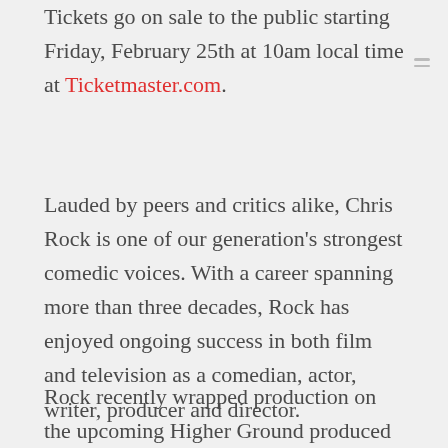Tickets go on sale to the public starting Friday, February 25th at 10am local time at Ticketmaster.com.
Lauded by peers and critics alike, Chris Rock is one of our generation's strongest comedic voices. With a career spanning more than three decades, Rock has enjoyed ongoing success in both film and television as a comedian, actor, writer, producer and director.
Rock recently wrapped production on the upcoming Higher Ground produced biopic, “Rustin” and David O’Russell’s